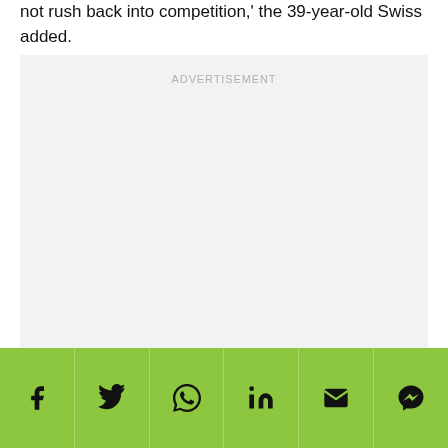not rush back into competition,' the 39-year-old Swiss added.
[Figure (other): Advertisement placeholder block with light gray background and ADVERTISEMENT label]
[Figure (infographic): Social sharing bar with green background containing icons for Facebook, Twitter, WhatsApp, LinkedIn, Email, and Messenger]